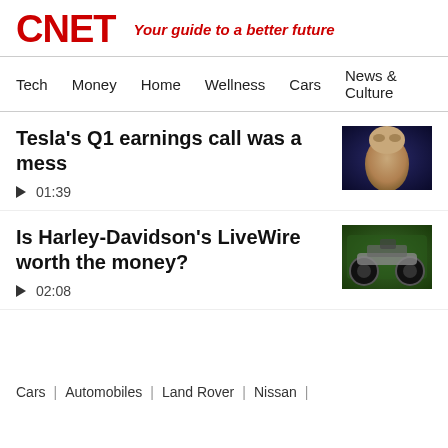CNET — Your guide to a better future
Tech | Money | Home | Wellness | Cars | News & Culture
Tesla's Q1 earnings call was a mess
▶ 01:39
[Figure (photo): Photo of Elon Musk against a dark blue background]
Is Harley-Davidson's LiveWire worth the money?
▶ 02:08
[Figure (photo): Photo of a motorcycle (Harley-Davidson LiveWire) being ridden]
Cars | Automobiles | Land Rover | Nissan |